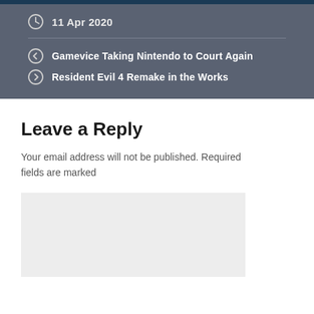11 Apr 2020
Gamevice Taking Nintendo to Court Again
Resident Evil 4 Remake in the Works
Leave a Reply
Your email address will not be published. Required fields are marked